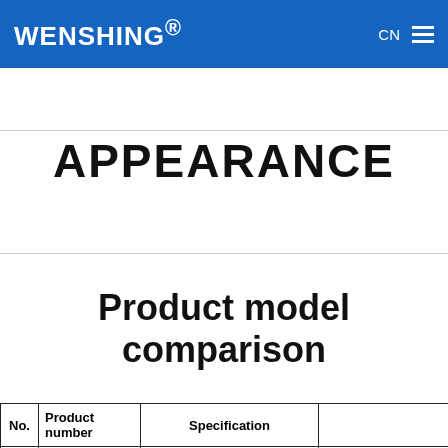WENSHING® CN ☰
APPEARANCE
Product model comparison
| No. | Product number | Specification |  |
| --- | --- | --- | --- |
| 1 | RD-DI1000-4F | 400～450MHz(790mW)　(GFSK) | Better penetratio… |
| 2 | RD-DI1000-4D | 400～450MHz(790mW)　(DSSS) | Excellent anti-inte… |
| 3 | RD-DI1000-9F | 902～928MHz　(1800mW)(GFSK) | High power outp… |